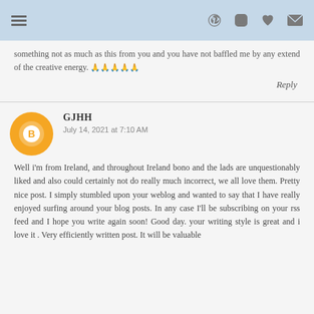Navigation header with menu icon and social icons (Pinterest, Instagram, heart, email)
something not as much as this from you and you have not baffled me by any extend of the creative energy. 🙏🙏🙏🙏🙏
Reply
GJHH
July 14, 2021 at 7:10 AM
Well i'm from Ireland, and throughout Ireland bono and the lads are unquestionably liked and also could certainly not do really much incorrect, we all love them. Pretty nice post. I simply stumbled upon your weblog and wanted to say that I have really enjoyed surfing around your blog posts. In any case I'll be subscribing on your rss feed and I hope you write again soon! Good day. your writing style is great and i love it . Very efficiently written post. It will be valuable